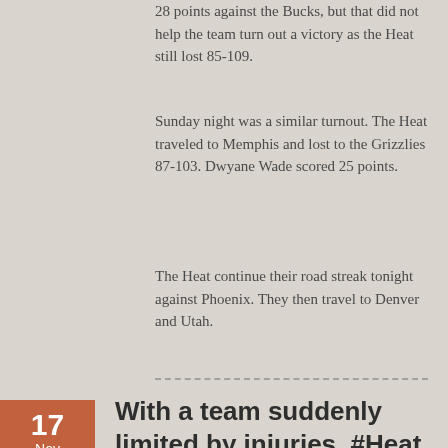28 points against the Bucks, but that did not help the team turn out a victory as the Heat still lost 85-109.
Sunday night was a similar turnout. The Heat traveled to Memphis and lost to the Grizzlies 87-103. Dwyane Wade scored 25 points.
The Heat continue their road streak tonight against Phoenix. They then travel to Denver and Utah.
[Figure (other): Date badge showing 17 Nov in orange/brown color with pennant shape]
With a team suddenly limited by injuries, #Heat coach Erik Spoelstra finds himself relying on Mario Chalmers